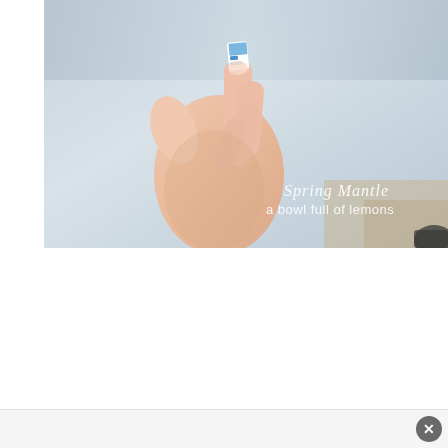[Figure (photo): A hand holding a small item with blue and white pattern against a light gray/blue blurred background. White script text overlay reads 'Spring Mantle' and 'a bowl full of lemons' in the lower right corner of the image.]